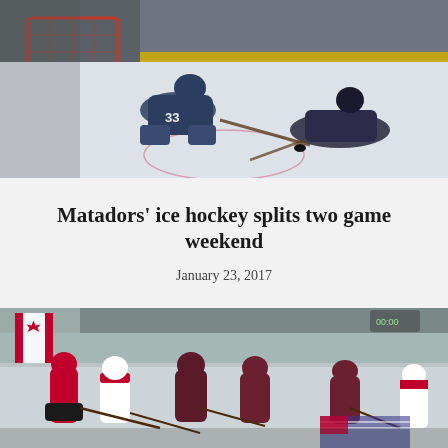[Figure (photo): Ice hockey game photo showing a goalie in dark jersey with number 33 making a save on the ice, with another player sliding nearby and a hockey puck visible]
Matadors' ice hockey splits two game weekend
January 23, 2017
[Figure (photo): Ice hockey game photo showing multiple players on ice with a Canadian flag visible on the arena wall in the background, players in red/white and dark maroon jerseys]